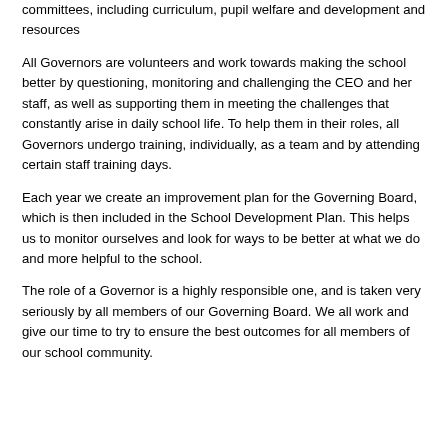committees, including curriculum, pupil welfare and development and resources
All Governors are volunteers and work towards making the school better by questioning, monitoring and challenging the CEO and her staff, as well as supporting them in meeting the challenges that constantly arise in daily school life. To help them in their roles, all Governors undergo training, individually, as a team and by attending certain staff training days.
Each year we create an improvement plan for the Governing Board, which is then included in the School Development Plan. This helps us to monitor ourselves and look for ways to be better at what we do and more helpful to the school.
The role of a Governor is a highly responsible one, and is taken very seriously by all members of our Governing Board. We all work and give our time to try to ensure the best outcomes for all members of our school community.